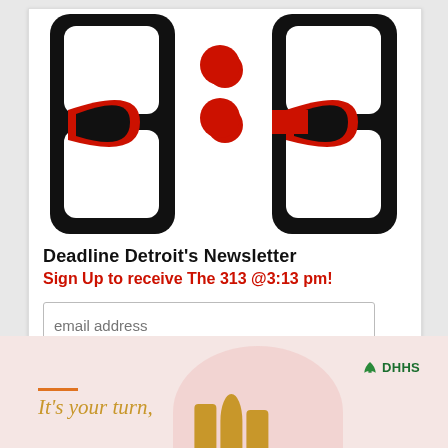[Figure (logo): 313 logo for Deadline Detroit newsletter, large black numerals with red D shapes and red colon dots]
Deadline Detroit's Newsletter
Sign Up to receive The 313 @3:13 pm!
email address
Subscribe
[Figure (infographic): MDHHS advertisement with pink background, text 'It's your turn,' with orange underline, and people silhouettes in gold]